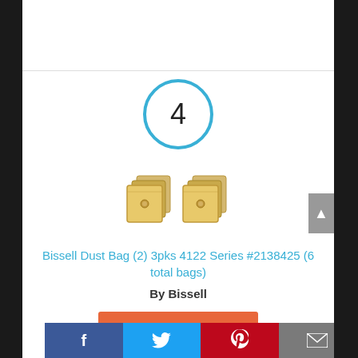[Figure (other): Step number 4 inside a cyan/blue circle]
[Figure (photo): Two 3-packs of Bissell dust bags, tan/beige colored, fanned out]
Bissell Dust Bag (2) 3pks 4122 Series #2138425 (6 total bags)
By Bissell
View Product
Facebook | Twitter | Pinterest | Email social share bar